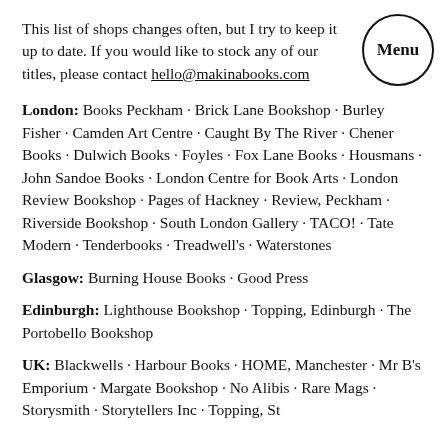This list of shops changes often, but I try to keep it up to date. If you would like to stock any of our titles, please contact hello@makinabooks.com
London: Books Peckham · Brick Lane Bookshop · Burley Fisher · Camden Art Centre · Caught By The River · Chener Books · Dulwich Books · Foyles · Fox Lane Books · Housmans · John Sandoe Books · London Centre for Book Arts · London Review Bookshop · Pages of Hackney · Review, Peckham · Riverside Bookshop · South London Gallery · TACO! · Tate Modern · Tenderbooks · Treadwell's · Waterstones
Glasgow: Burning House Books · Good Press
Edinburgh: Lighthouse Bookshop · Topping, Edinburgh · The Portobello Bookshop
UK: Blackwells · Harbour Books · HOME, Manchester · Mr B's Emporium · Margate Bookshop · No Alibis · Rare Mags · Storysmith · Storytellers Inc · Topping, St